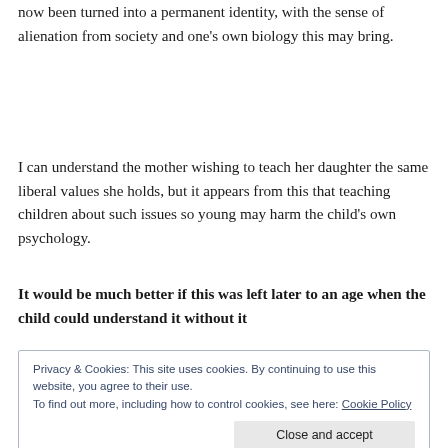now been turned into a permanent identity, with the sense of alienation from society and one's own biology this may bring.
I can understand the mother wishing to teach her daughter the same liberal values she holds, but it appears from this that teaching children about such issues so young may harm the child's own psychology.
It would be much better if this was left later to an age when the child could understand it without it
Privacy & Cookies: This site uses cookies. By continuing to use this website, you agree to their use.
To find out more, including how to control cookies, see here: Cookie Policy
[Close and accept]